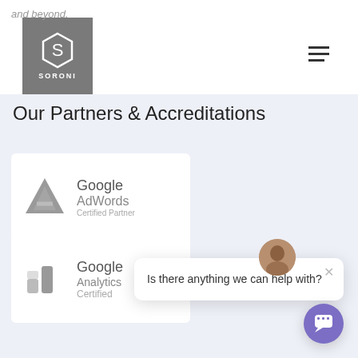and beyond.
[Figure (logo): Soroni hexagon logo with letter S, grey background, white text SORONI]
[Figure (illustration): Hamburger/navigation menu icon (three horizontal lines)]
Our Partners & Accreditations
[Figure (logo): Google AdWords Certified Partner logo - grey triangle A shape on left, Google AdWords Certified Partner text on right]
[Figure (logo): Google Analytics Certified logo - grey bar chart bars on left, Google Analytics Certified text on right]
[Figure (photo): Chat popup overlay with avatar photo of a woman, close X button, and message: Is there anything we can help with?]
Is there anything we can help with?